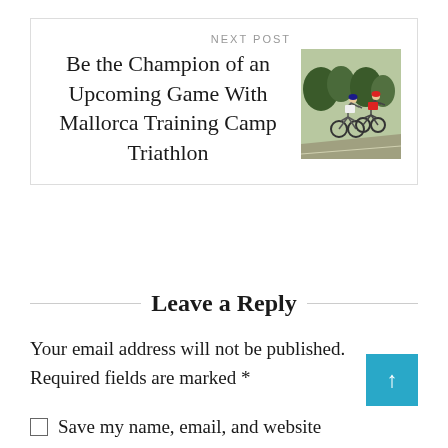NEXT POST
Be the Champion of an Upcoming Game With Mallorca Training Camp Triathlon
[Figure (photo): Two cyclists riding on a road with trees in background]
Leave a Reply
Your email address will not be published. Required fields are marked *
Save my name, email, and website